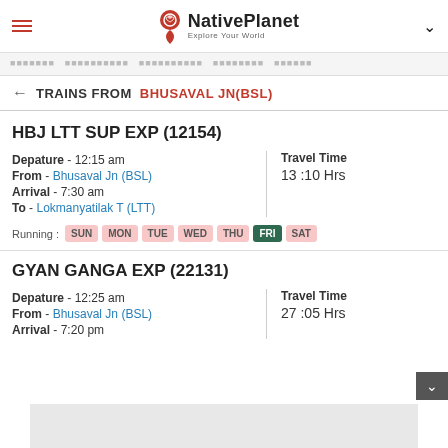NativePlanet - Explore Your World
Navigation menu items (Hindi/regional text)
TRAINS FROM BHUSAVAL JN(BSL)
HBJ LTT SUP EXP (12154)
Depature - 12:15 am
From - Bhusaval Jn (BSL)
Arrival - 7:30 am
To - Lokmanyatilak T (LTT)
Travel Time
13 :10 Hrs
Running: SUN MON TUE WED THU FRI SAT
GYAN GANGA EXP (22131)
Depature - 12:25 am
From - Bhusaval Jn (BSL)
Arrival - 7:20 pm
Travel Time
27 :05 Hrs